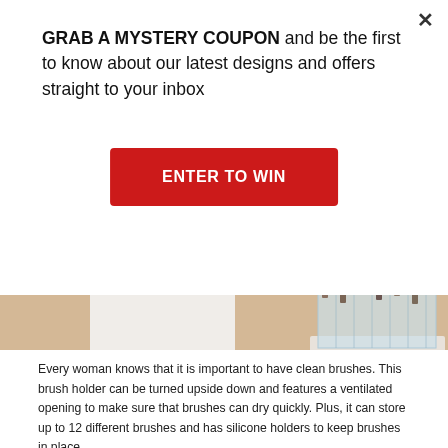GRAB A MYSTERY COUPON and be the first to know about our latest designs and offers straight to your inbox
ENTER TO WIN
[Figure (photo): Close-up photo of two white rectangular brush holders / storage containers on a light wood floor, one solid white tall block and another containing a clear acrylic ventilated insert with brushes.]
Every woman knows that it is important to have clean brushes. This brush holder can be turned upside down and features a ventilated opening to make sure that brushes can dry quickly. Plus, it can store up to 12 different brushes and has silicone holders to keep brushes in place.